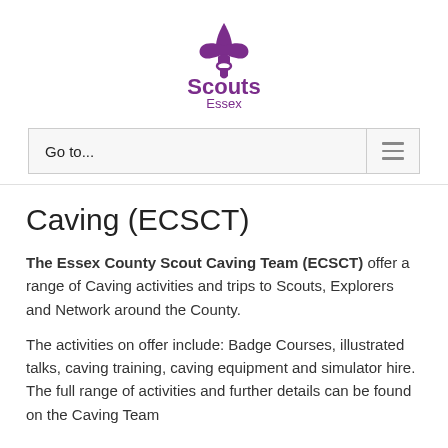[Figure (logo): Scouts Essex logo — purple fleur-de-lis above bold purple text 'Scouts' with 'Essex' in smaller purple text below]
Go to...
Caving (ECSCT)
The Essex County Scout Caving Team (ECSCT) offer a range of Caving activities and trips to Scouts, Explorers and Network around the County.
The activities on offer include: Badge Courses, illustrated talks, caving training, caving equipment and simulator hire. The full range of activities and further details can be found on the Caving Team